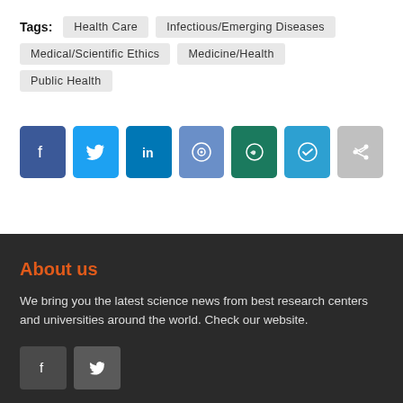Tags: Health Care  Infectious/Emerging Diseases  Medical/Scientific Ethics  Medicine/Health  Public Health
[Figure (infographic): Row of social share buttons: Facebook (dark blue), Twitter (light blue), LinkedIn (blue), Reddit (medium blue), WhatsApp (dark teal), Telegram (light blue), Share (grey)]
About us
We bring you the latest science news from best research centers and universities around the world. Check our website.
[Figure (infographic): Two small footer social buttons: Facebook (dark grey) and Twitter (dark grey)]